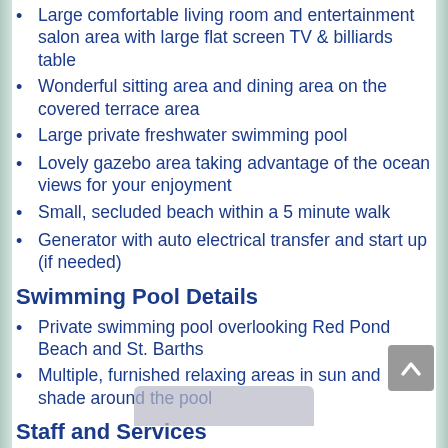Large comfortable living room and entertainment salon area with large flat screen TV & billiards table
Wonderful sitting area and dining area on the covered terrace area
Large private freshwater swimming pool
Lovely gazebo area taking advantage of the ocean views for your enjoyment
Small, secluded beach within a 5 minute walk
Generator with auto electrical transfer and start up (if needed)
Swimming Pool Details
Private swimming pool overlooking Red Pond Beach and St. Barths
Multiple, furnished relaxing areas in sun and shade around the pool
Staff and Services
Reservation … hts or more